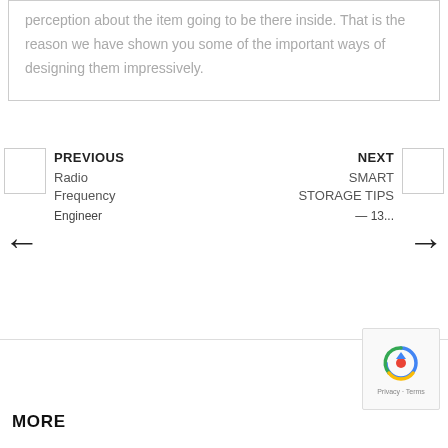perception about the item going to be there inside. That is the reason we have shown you some of the important ways of designing them impressively.
PREVIOUS
Radio Frequency
Engineer
NEXT
SMART STORAGE TIPS
— 13...
MORE